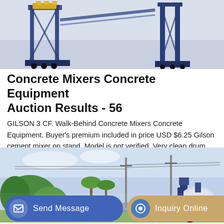[Figure (photo): Industrial concrete mixer / batching plant equipment on a blue steel frame structure]
Concrete Mixers Concrete Equipment Auction Results - 56
GILSON 3 CF. Walk-Behind Concrete Mixers Concrete Equipment. Buyer's premium included in price USD $6.25 Gilson cement mixer on stand. Model is not verified. Very clean drum, good condition, mouth of drum is 15" wide, depth of drum is 23". Electric motor has …
[Figure (other): Blue GET A QUOTE button]
[Figure (photo): Outdoor scene with cement mixer on right side, tropical trees and utility poles in background]
[Figure (other): Bottom action bar with Send Message and Inquiry Online buttons]